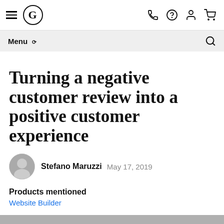[Figure (logo): Navigation bar with hamburger menu, G logo, phone icon, help icon, user icon, and cart icon]
Menu ∨   🔍
Turning a negative customer review into a positive customer experience
Stefano Maruzzi   May 17, 2019
Products mentioned
Website Builder